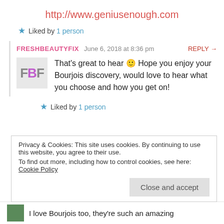http://www.geniusenough.com
Liked by 1 person
FRESHBEAUTYFIX  June 6, 2018 at 8:36 pm  REPLY →
That's great to hear 🙂 Hope you enjoy your Bourjois discovery, would love to hear what you choose and how you get on!
Liked by 1 person
Privacy & Cookies: This site uses cookies. By continuing to use this website, you agree to their use. To find out more, including how to control cookies, see here: Cookie Policy
Close and accept
I love Bourjois too, they're such an amazing